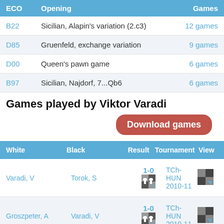| ECO | Opening | Games |
| --- | --- | --- |
| B22 | Sicilian, Alapin's variation (2.c3) | 12 games |
| D85 | Gruenfeld, exchange variation | 9 games |
| D00 | Queen's pawn game | 6 games |
| B97 | Sicilian, Najdorf, 7...Qb6 | 6 games |
Games played by Viktor Varadi
Download games
| White | Black | Result | Tournament | View |
| --- | --- | --- | --- | --- |
| Varadi, V | Torok, S | 1-0 | TCh-HUN 2010-11 |  |
| Groszpeter, A | Varadi, V | 1-0 | TCh-HUN 2010-11 |  |
|  |  | 1-0 | TCh-HUN |  |